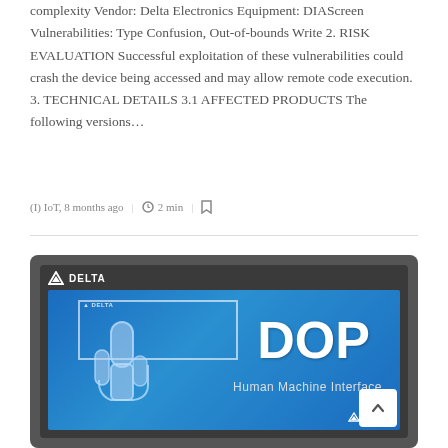complexity Vendor: Delta Electronics Equipment: DIAScreen Vulnerabilities: Type Confusion, Out-of-bounds Write 2. RISK EVALUATION Successful exploitation of these vulnerabilities could crash the device being accessed and may allow remote code execution. 3. TECHNICAL DETAILS 3.1 AFFECTED PRODUCTS The following versions…
(I) IoT, 8 months ago | 2 min |
[Figure (photo): Delta Electronics DOP Human Machine Interface (HMI) device showing a touchscreen panel with the Delta logo, a large blue screen displaying 'DOP' and 'Human Machine Interface' text, with a hand/touch icon on the left side of the screen.]